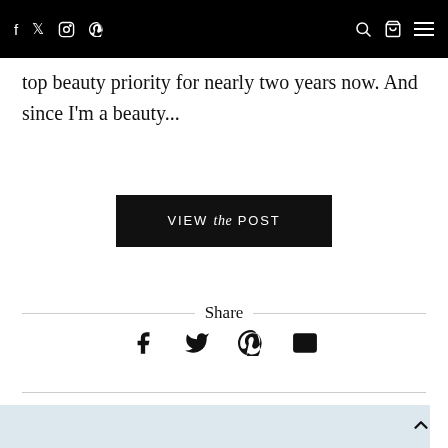Navigation bar with social icons (f, twitter, instagram, pinterest) on left and search, bag, menu icons on right
top beauty priority for nearly two years now. And since I'm a beauty...
VIEW the POST
Share
[Figure (infographic): Social sharing icons: Facebook, Twitter, Pinterest, Email]
[Figure (photo): A light blue structured handbag with silver wire/cage overlay frame, partially visible at bottom of page]